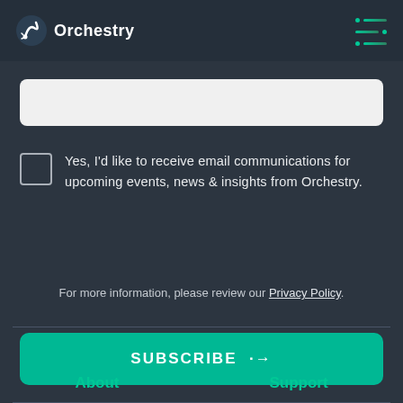Orchestry
Yes, I'd like to receive email communications for upcoming events, news & insights from Orchestry.
For more information, please review our Privacy Policy.
SUBSCRIBE →
About    Support